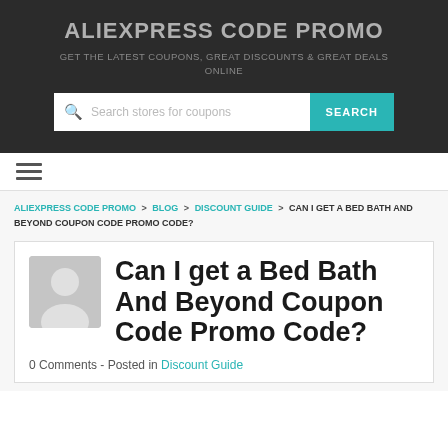ALIEXPRESS CODE PROMO
GET THE LATEST COUPONS, GREAT DISCOUNTS & GREAT DEALS ONLINE
[Figure (other): Search bar with magnifying glass icon, placeholder text 'Search stores for coupons', and a teal SEARCH button]
[Figure (other): Hamburger menu icon (three horizontal lines)]
ALIEXPRESS CODE PROMO > BLOG > DISCOUNT GUIDE > CAN I GET A BED BATH AND BEYOND COUPON CODE PROMO CODE?
Can I get a Bed Bath And Beyond Coupon Code Promo Code?
0 Comments  -  Posted in Discount Guide